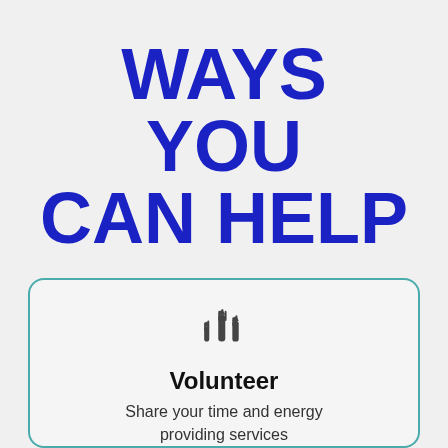WAYS YOU CAN HELP
[Figure (illustration): Three raised hands icon in dark gray, symbolizing volunteering]
Volunteer
Share your time and energy providing services